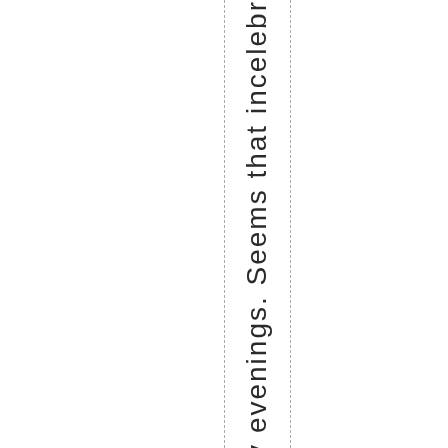Sunday evenings. Seems that incelebr